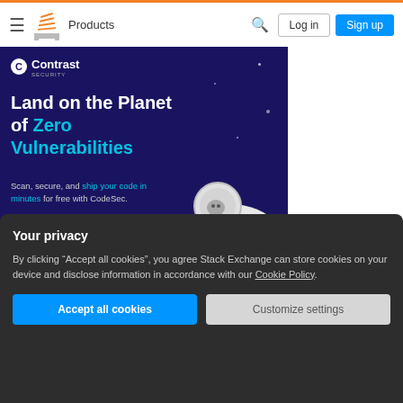≡  [Stack Overflow logo]  Products  🔍  Log in  Sign up
[Figure (illustration): Contrast Security advertisement banner with dark blue background. Headline reads 'Land on the Planet of Zero Vulnerabilities'. Subtext: 'Scan, secure, and ship your code in minutes for free with CodeSec.' Button: 'Start Now for Free'. Features a cat astronaut illustration and green wave design element.]
Report this ad
Your privacy
By clicking "Accept all cookies", you agree Stack Exchange can store cookies on your device and disclose information in accordance with our Cookie Policy.
Accept all cookies    Customize settings